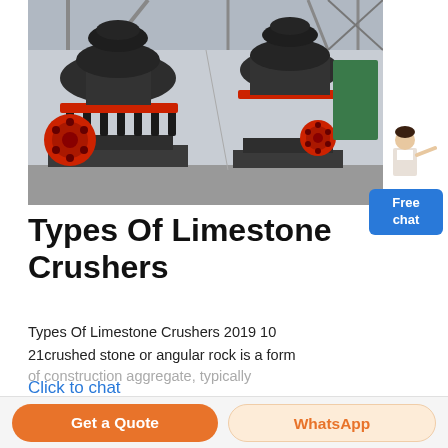[Figure (photo): Two large cone crushers (limestone/stone crushers) in dark gray and black with red flywheel and red accent rings, displayed in an industrial warehouse setting.]
Types Of Limestone Crushers
Types Of Limestone Crushers 2019 10 21crushed stone or angular rock is a form of construction aggregate, typically
Click to chat
Get a Quote
WhatsApp